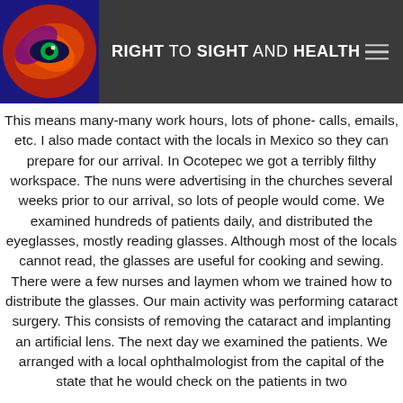RIGHT TO SIGHT AND HEALTH
This means many-many work hours, lots of phone- calls, emails, etc. I also made contact with the locals in Mexico so they can prepare for our arrival. In Ocotepec we got a terribly filthy workspace. The nuns were advertising in the churches several weeks prior to our arrival, so lots of people would come. We examined hundreds of patients daily, and distributed the eyeglasses, mostly reading glasses. Although most of the locals cannot read, the glasses are useful for cooking and sewing. There were a few nurses and laymen whom we trained how to distribute the glasses. Our main activity was performing cataract surgery. This consists of removing the cataract and implanting an artificial lens. The next day we examined the patients. We arranged with a local ophthalmologist from the capital of the state that he would check on the patients in two